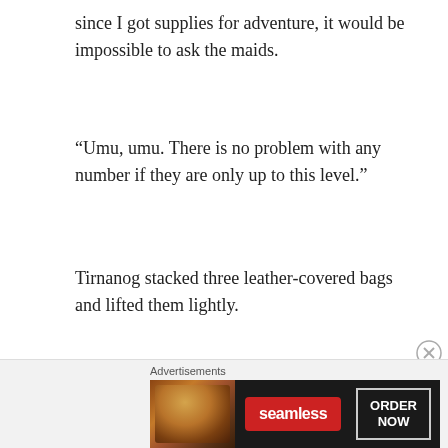since I got supplies for adventure, it would be impossible to ask the maids.
“Umu, umu. There is no problem with any number if they are only up to this level.”
Tirnanog stacked three leather-covered bags and lifted them lightly.
[Figure (other): Seamless food delivery advertisement banner with pizza image, red Seamless logo, and ORDER NOW button on dark background]
Advertisements